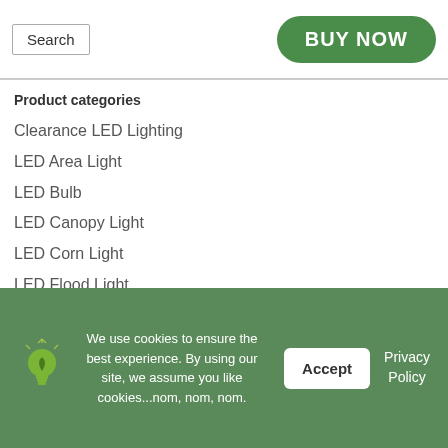Search | BUY NOW
Product categories
Clearance LED Lighting
LED Area Light
LED Bulb
LED Canopy Light
LED Corn Light
LED Flood Light
LED High Bay Light
LED Light Mounting Bracket
We use cookies to ensure the best experience. By using our site, we assume you like cookies...nom, nom, nom. Accept Privacy Policy